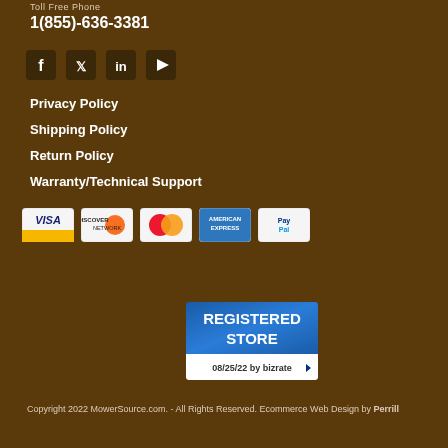Toll Free Phone
1(855)-636-3381
[Figure (infographic): Row of social media icons: Facebook, Twitter, LinkedIn, YouTube]
Privacy Policy
Shipping Policy
Return Policy
Warranty/Technical Support
[Figure (infographic): Payment method icons: Visa, Discover, MasterCard, American Express, PayPal]
[Figure (logo): Bizrate Registered Store badge dated 08/25/22]
Copyright 2022 MowerSource.com. - All Rights Reserved. Ecommerce Web Design by Perrill